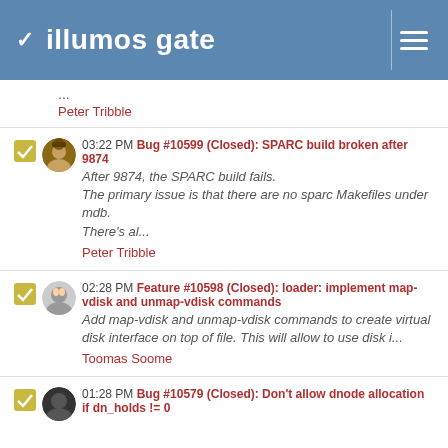illumos gate
...
Peter Tribble
03:22 PM Bug #10599 (Closed): SPARC build broken after 9874
After 9874, the SPARC build fails.
The primary issue is that there are no sparc Makefiles under mdb.
There's al...
Peter Tribble
02:28 PM Feature #10598 (Closed): loader: implement map-vdisk and unmap-vdisk commands
Add map-vdisk and unmap-vdisk commands to create virtual disk interface on top of file. This will allow to use disk i...
Toomas Soome
01:28 PM Bug #10579 (Closed): Don't allow dnode allocation if dn_holds != 0